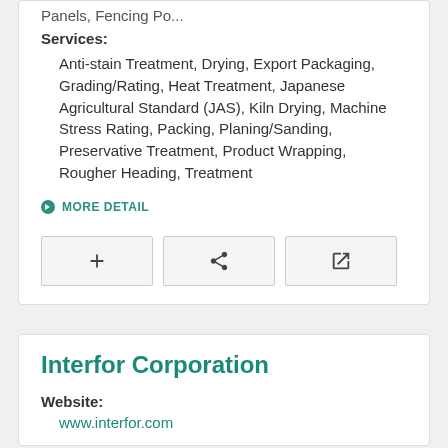Panels, Fencing Po...
Services:
Anti-stain Treatment, Drying, Export Packaging, Grading/Rating, Heat Treatment, Japanese Agricultural Standard (JAS), Kiln Drying, Machine Stress Rating, Packing, Planing/Sanding, Preservative Treatment, Product Wrapping, Rougher Heading, Treatment
MORE DETAIL
[Figure (screenshot): Three icon buttons: plus, share, and external link]
Interfor Corporation
Website:
www.interfor.com